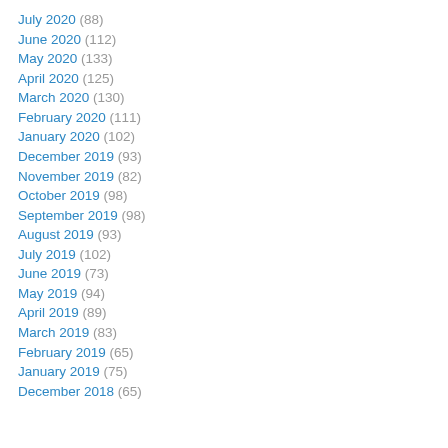July 2020 (88)
June 2020 (112)
May 2020 (133)
April 2020 (125)
March 2020 (130)
February 2020 (111)
January 2020 (102)
December 2019 (93)
November 2019 (82)
October 2019 (98)
September 2019 (98)
August 2019 (93)
July 2019 (102)
June 2019 (73)
May 2019 (94)
April 2019 (89)
March 2019 (83)
February 2019 (65)
January 2019 (75)
December 2018 (65)